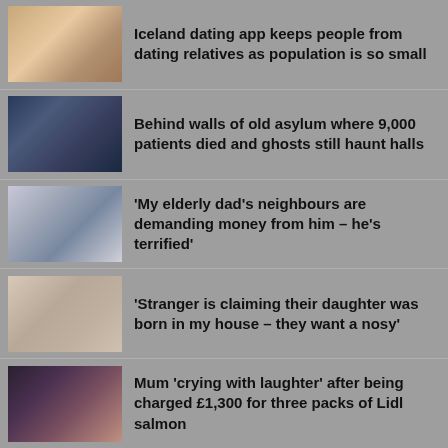Iceland dating app keeps people from dating relatives as population is so small
Behind walls of old asylum where 9,000 patients died and ghosts still haunt halls
'My elderly dad's neighbours are demanding money from him – he's terrified'
'Stranger is claiming their daughter was born in my house – they want a nosy'
Mum 'crying with laughter' after being charged £1,300 for three packs of Lidl salmon